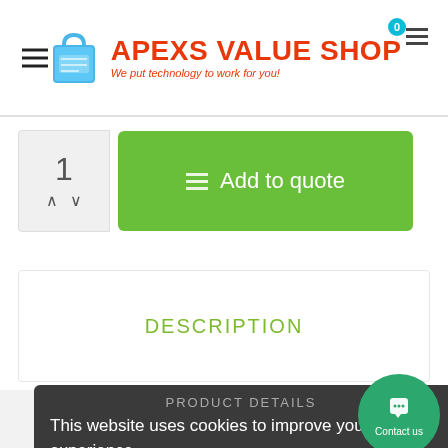[Figure (logo): Apexs Value Shop logo with shopping bag icon and tagline 'We put technology to work for you!']
1
Add to quote
DESCRIPTION
PRODUCT DETAILS
This website uses cookies to improve your user experience.
MANUALS
PRIVACY POLICY   ACCEPT
FAQS
Contact us